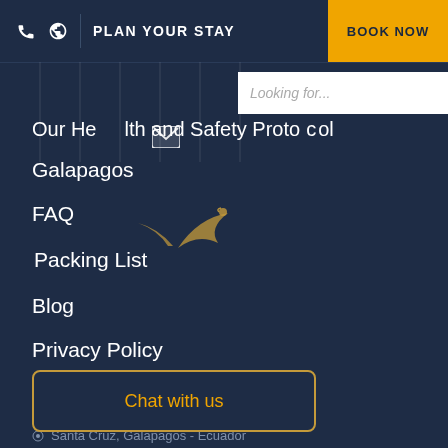PLAN YOUR STAY | BOOK NOW
Looking for...
Our Health and Safety Protocol
Galapagos
FAQ
Packing List
Blog
Privacy Policy
CONTACT US
Santa Cruz, Galapagos - Ecuador
Chat with us